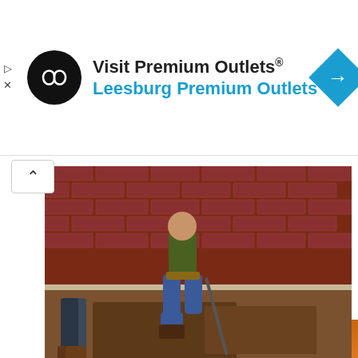[Figure (screenshot): Advertisement banner for Visit Premium Outlets® Leesburg Premium Outlets, with circular black logo with infinity-loop icon on left, blue diamond arrow icon on right, and dark navy blue play/X controls on far left edge.]
[Figure (photo): Construction workers kneeling near the foundation of a red brick building, digging in brown soil along the base of the wall.]
2022 Prices For Pier Foundation Repair could be cheaper than you think
This website uses cookies to ensure you get the best experience.  Learn more
Got it